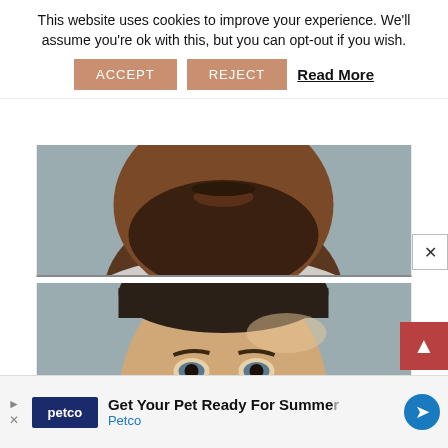This website uses cookies to improve your experience. We'll assume you're ok with this, but you can opt-out if you wish.
ACCEPT  REJECT  Read More
[Figure (photo): Mugshot photo cropped to lower face and neck of dark-skinned man with stubble beard, wearing light gray shirt, against gray background]
[Figure (photo): Mugshot photo of white man with short dark hair, looking forward, eyes visible, against gray background]
Get Your Pet Ready For Summer  Petco